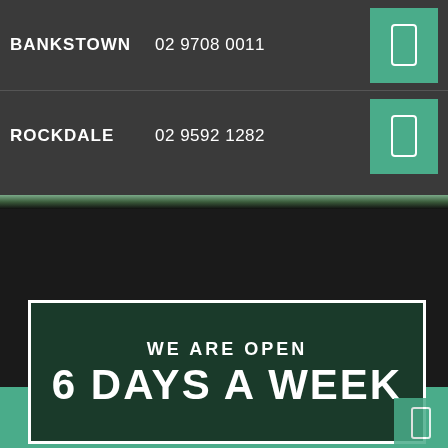BANKSTOWN   02 9708 0011
ROCKDALE   02 9592 1282
[Figure (infographic): Dark background mid section with foliage visible]
WE ARE OPEN
6 DAYS A WEEK